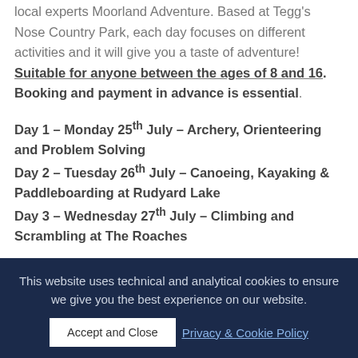local experts Moorland Adventure. Based at Tegg's Nose Country Park, each day focuses on different activities and it will give you a taste of adventure! Suitable for anyone between the ages of 8 and 16. Booking and payment in advance is essential.
Day 1 – Monday 25th July – Archery, Orienteering and Problem Solving
Day 2 – Tuesday 26th July – Canoeing, Kayaking & Paddleboarding at Rudyard Lake
Day 3 – Wednesday 27th July – Climbing and Scrambling at The Roaches
This website uses technical and analytical cookies to ensure we give you the best experience on our website.